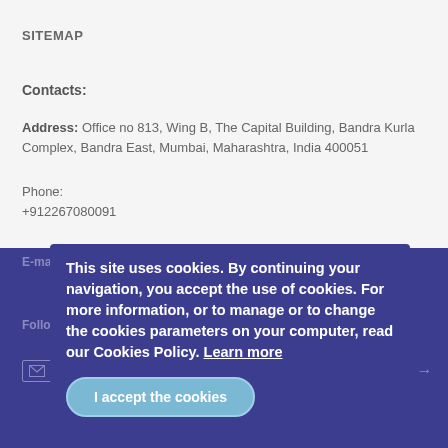SITEMAP
Contacts:
Address: Office no 813, Wing B, The Capital Building, Bandra Kurla Complex, Bandra East, Mumbai, Maharashtra, India 400051
Phone:
+912267080091
E-mail: info_sa@rosatom.com
Follow us:
Subscribe for updates →
This site uses cookies. By continuing your navigation, you accept the use of cookies. For more information, or to manage or to change the cookies parameters on your computer, read our Cookies Policy. Learn more
I accept the cookies